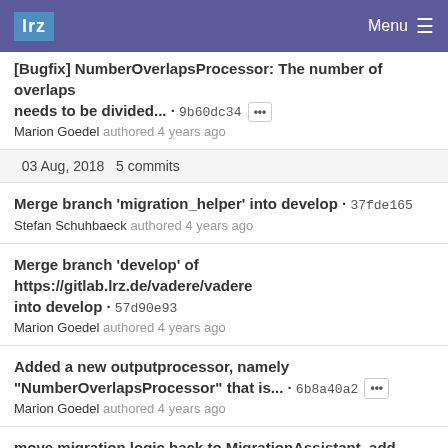lrz  Menu
[Bugfix] NumberOverlapsProcessor: The number of overlaps needs to be divided... · 9b60dc34 Marion Goedel authored 4 years ago
03 Aug, 2018  5 commits
Merge branch 'migration_helper' into develop · 37fde165 Stefan Schuhbaeck authored 4 years ago
Merge branch 'develop' of https://gitlab.lrz.de/vadere/vadere into develop · 57d90e93 Marion Goedel authored 4 years ago
Added a new outputprocessor, namely "NumberOverlapsProcessor" that is... · 6b8a40a2 Marion Goedel authored 4 years ago
move migration logic back to MigrationAssistant, add MigrationUtil · 8375f258 Stefan Schuhbaeck authored 4 years ago